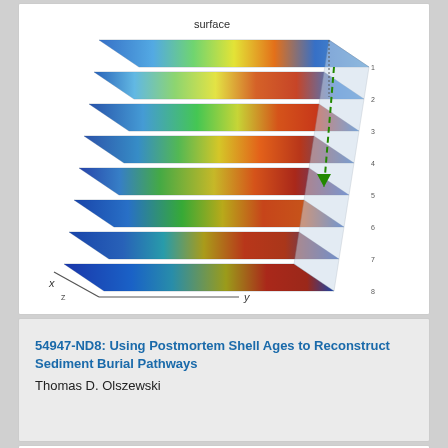[Figure (other): 3D layered visualization showing sediment burial layers with heatmap coloring (blue to red) indicating values at different depths. Axes labeled x, y, and z. 'surface' label at top with a white arrow. A dashed green arrow points downward through the layers.]
54947-ND8: Using Postmortem Shell Ages to Reconstruct Sediment Burial Pathways
Thomas D. Olszewski